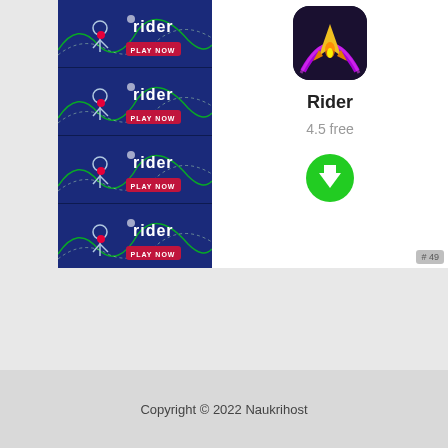[Figure (screenshot): App listing card showing Rider game ad on the left (repeated strips with 'rider' logo and 'PLAY NOW' button) and app info on the right (icon of spaceship game, title 'Rider', rating '4.5 free', green download button, badge '# 49')]
Copyright © 2022 Naukrihost